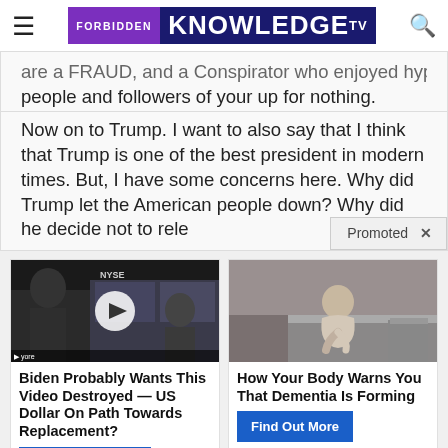Forbidden Knowledge TV
are a FRAUD, and a Conspirator who enjoyed hyping all those people and followers of your up for nothing.
Now on to Trump. I want to also say that I think that Trump is one of the best president in modern times. But, I have some concerns here. Why did Trump let the American people down? Why did he decide not to rele
[Figure (screenshot): Promoted advertisement overlay with two ad cards: left card shows a video thumbnail with play button (NYSE trading floor scene) and headline 'Biden Probably Wants This Video Destroyed — US Dollar On Path Towards Replacement?' with 'Watch The Video' button. Right card shows an image of a person sitting on a bed and headline 'How Your Body Warns You That Dementia Is Forming' with 'Find Out More' button. A 'Promoted X' label appears at top right of the ad area.]